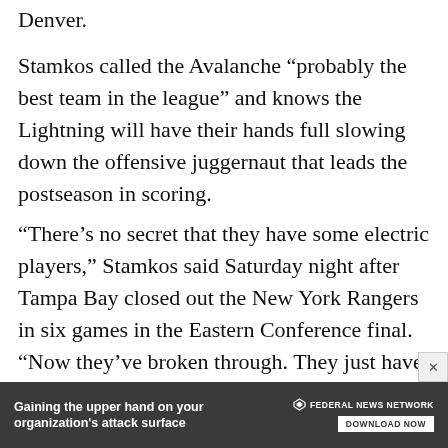Denver.
Stamkos called the Avalanche “probably the best team in the league” and knows the Lightning will have their hands full slowing down the offensive juggernaut that leads the postseason in scoring.
“There’s no secret that they have some electric players,” Stamkos said Saturday night after Tampa Bay closed out the New York Rangers in six games in the Eastern Conference final. “Now they’ve broken through. They just have an unbelievable mix of veteran presence, star power, grinders, a goalie. A huge challenge for us.”
[Figure (other): Advertisement banner: Federal News Network - 'Gaining the upper hand on your organization's attack surface' with DOWNLOAD NOW button]